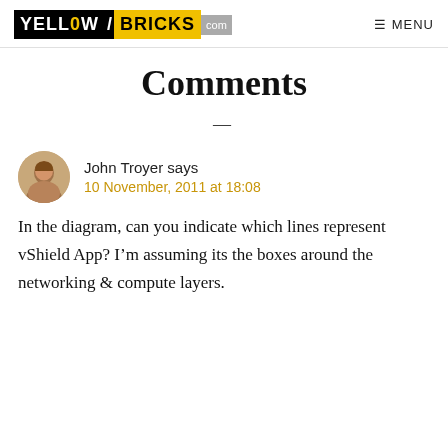YELLOW/BRICKS .com  MENU
Comments
John Troyer says
10 November, 2011 at 18:08
In the diagram, can you indicate which lines represent vShield App? I’m assuming its the boxes around the networking & compute layers.